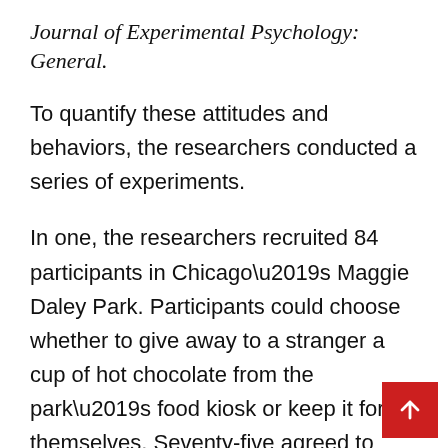Journal of Experimental Psychology: General.
To quantify these attitudes and behaviors, the researchers conducted a series of experiments.
In one, the researchers recruited 84 participants in Chicago’s Maggie Daley Park. Participants could choose whether to give away to a stranger a cup of hot chocolate from the park’s food kiosk or keep it for themselves. Seventy-five agreed to give it away.